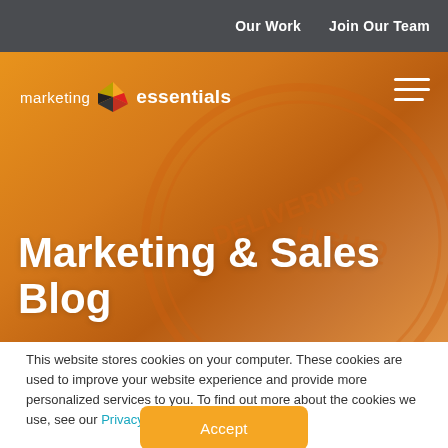Our Work   Join Our Team
[Figure (screenshot): Marketing Essentials website hero banner with orange gradient background, circular seal watermark reading 'DELIVERING HIGH-Q...', company logo 'marketing essentials' with diamond icon on left, hamburger menu on right, and large white text 'Marketing & Sales Blog' at bottom]
This website stores cookies on your computer. These cookies are used to improve your website experience and provide more personalized services to you. To find out more about the cookies we use, see our Privacy Policy.
Accept